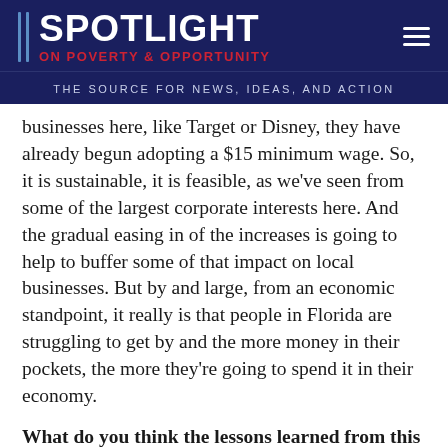SPOTLIGHT ON POVERTY & OPPORTUNITY
THE SOURCE FOR NEWS, IDEAS, AND ACTION
businesses here, like Target or Disney, they have already begun adopting a $15 minimum wage. So, it is sustainable, it is feasible, as we've seen from some of the largest corporate interests here. And the gradual easing in of the increases is going to help to buffer some of that impact on local businesses. But by and large, from an economic standpoint, it really is that people in Florida are struggling to get by and the more money in their pockets, the more they're going to spend it in their economy.
What do you think the lessons learned from this are for other states, particularly other southern